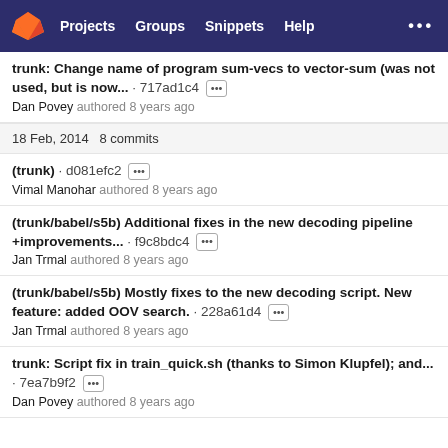Projects  Groups  Snippets  Help  ...
trunk: Change name of program sum-vecs to vector-sum (was not used, but is now... · 717ad1c4 [...]
Dan Povey authored 8 years ago
18 Feb, 2014 8 commits
(trunk) · d081efc2 [...]
Vimal Manohar authored 8 years ago
(trunk/babel/s5b) Additional fixes in the new decoding pipeline +improvements... · f9c8bdc4 [...]
Jan Trmal authored 8 years ago
(trunk/babel/s5b) Mostly fixes to the new decoding script. New feature: added OOV search. · 228a61d4 [...]
Jan Trmal authored 8 years ago
trunk: Script fix in train_quick.sh (thanks to Simon Klupfel); and... · 7ea7b9f2 [...]
Dan Povey authored 8 years ago